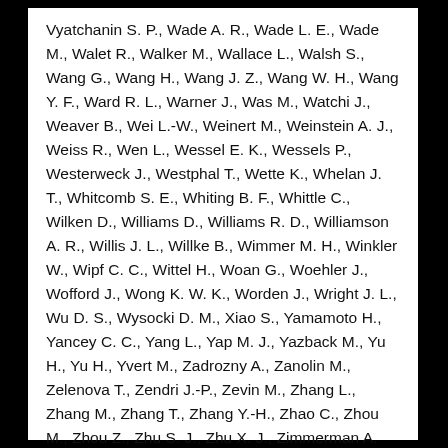Vyatchanin S. P., Wade A. R., Wade L. E., Wade M., Walet R., Walker M., Wallace L., Walsh S., Wang G., Wang H., Wang J. Z., Wang W. H., Wang Y. F., Ward R. L., Warner J., Was M., Watchi J., Weaver B., Wei L.-W., Weinert M., Weinstein A. J., Weiss R., Wen L., Wessel E. K., Wessels P., Westerweck J., Westphal T., Wette K., Whelan J. T., Whitcomb S. E., Whiting B. F., Whittle C., Wilken D., Williams D., Williams R. D., Williamson A. R., Willis J. L., Willke B., Wimmer M. H., Winkler W., Wipf C. C., Wittel H., Woan G., Woehler J., Wofford J., Wong K. W. K., Worden J., Wright J. L., Wu D. S., Wysocki D. M., Xiao S., Yamamoto H., Yancey C. C., Yang L., Yap M. J., Yazback M., Yu H., Yu H., Yvert M., Zadrozny A., Zanolin M., Zelenova T., Zendri J.-P., Zevin M., Zhang L., Zhang M., Zhang T., Zhang Y.-H., Zhao C., Zhou M., Zhou Z., Zhu S. J., Zhu X. J., Zimmerman A. B., Zucker M. E., Zweizig J.,